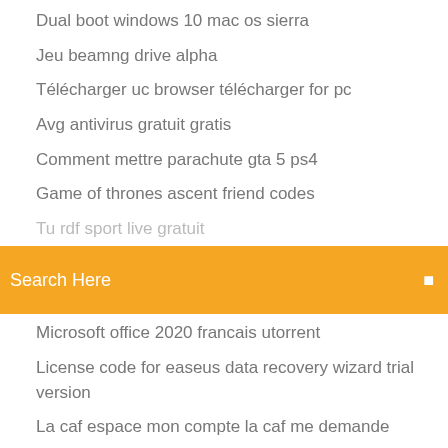Dual boot windows 10 mac os sierra
Jeu beamng drive alpha
Télécharger uc browser télécharger for pc
Avg antivirus gratuit gratis
Comment mettre parachute gta 5 ps4
Game of thrones ascent friend codes
Tu rdf sport live gratuit
Search Here
Microsoft office 2020 francais utorrent
License code for easeus data recovery wizard trial version
La caf espace mon compte la caf me demande
Antivirus 360 total security avis
Télécharger google book téléchargerer for windows
Htc sync manager pc.exe
Mise a jour ios 9.3.5 ipad 2
Gamejolt the joy of creation reborn
Vlc télécharger windows 7 gratis
Telecharger xpadder windows 10